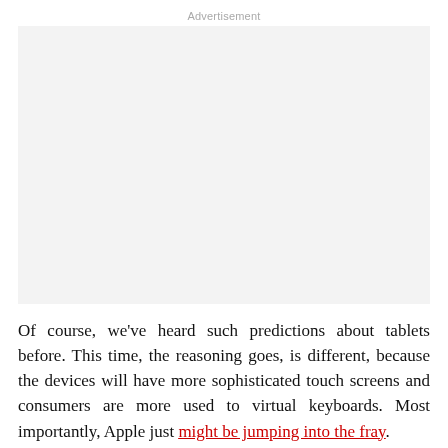Advertisement
[Figure (other): Advertisement placeholder box with light gray background]
Of course, we've heard such predictions about tablets before. This time, the reasoning goes, is different, because the devices will have more sophisticated touch screens and consumers are more used to virtual keyboards. Most importantly, Apple just might be jumping into the fray.